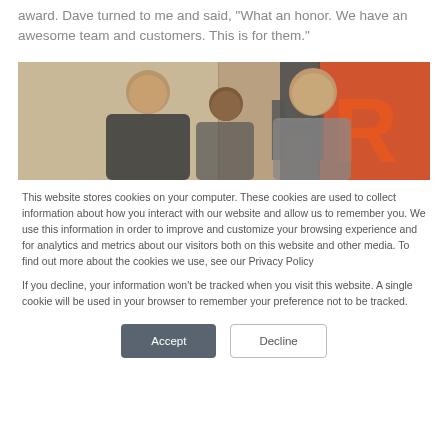award. Dave turned to me and said, “What an honor. We have an awesome team and customers. This is for them.”
[Figure (photo): Three men posing together smiling in front of a banner with orange and gray branding]
This website stores cookies on your computer. These cookies are used to collect information about how you interact with our website and allow us to remember you. We use this information in order to improve and customize your browsing experience and for analytics and metrics about our visitors both on this website and other media. To find out more about the cookies we use, see our Privacy Policy
If you decline, your information won’t be tracked when you visit this website. A single cookie will be used in your browser to remember your preference not to be tracked.
Accept
Decline